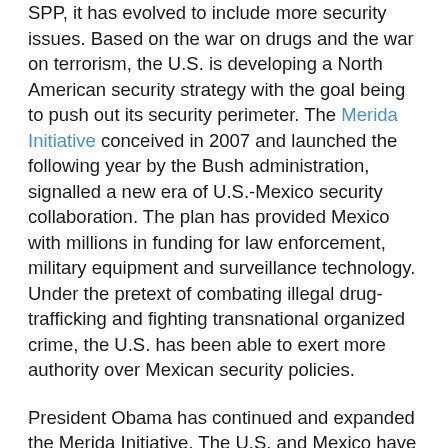SPP, it has evolved to include more security issues. Based on the war on drugs and the war on terrorism, the U.S. is developing a North American security strategy with the goal being to push out its security perimeter. The Merida Initiative conceived in 2007 and launched the following year by the Bush administration, signalled a new era of U.S.-Mexico security collaboration. The plan has provided Mexico with millions in funding for law enforcement, military equipment and surveillance technology. Under the pretext of combating illegal drug-trafficking and fighting transnational organized crime, the U.S. has been able to exert more authority over Mexican security policies.
President Obama has continued and expanded the Merida Initiative. The U.S. and Mexico have further broadened and deepened their cooperation. A U.S. State Department fact sheet entitled United States-Mexico Security Partnership: Progress and Impact proclaimed how both, "governments have built on the foundations of the Merida Initiative to establish four strategic areas to guide our cooperation and institutionalize our partnership: disrupt organized criminal groups; strengthen institutions; create a 21 st century